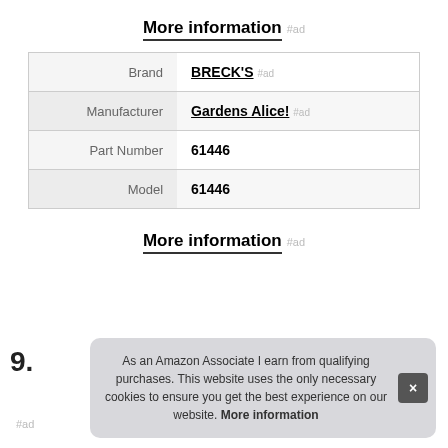More information #ad
| Label | Value |
| --- | --- |
| Brand | BRECK'S #ad |
| Manufacturer | Gardens Alice! #ad |
| Part Number | 61446 |
| Model | 61446 |
More information #ad
9.
As an Amazon Associate I earn from qualifying purchases. This website uses the only necessary cookies to ensure you get the best experience on our website. More information
#ad